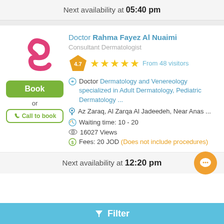Next availability at 05:40 pm
[Figure (screenshot): Doctor listing card for Rahma Fayez Al Nuaimi, Consultant Dermatologist, rating 4.7 from 48 visitors, Book button, Call to book button]
Doctor Rahma Fayez Al Nuaimi
Consultant Dermatologist
4.7 ★★★★★ From 48 visitors
Doctor Dermatology and Venereology specialized in Adult Dermatology, Pediatric Dermatology ...
Az Zaraq, Al Zarqa Al Jadeedeh, Near Anas ...
Waiting time: 10 - 20
16027 Views
Fees: 20 JOD (Does not include procedures)
Next availability at 12:20 pm
Filter